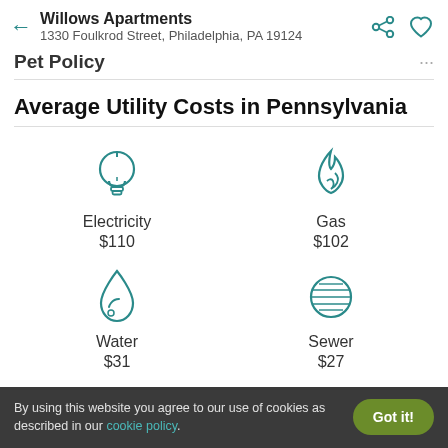Willows Apartments
1330 Foulkrod Street, Philadelphia, PA 19124
Pet Policy
Average Utility Costs in Pennsylvania
[Figure (infographic): Four utility cost icons in a 2x2 grid: Electricity $110, Gas $102, Water $31, Sewer $27]
By using this website you agree to our use of cookies as described in our cookie policy.